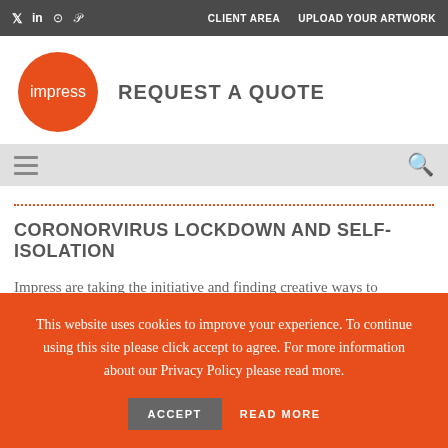Twitter LinkedIn Instagram Pinterest | CLIENT AREA   UPLOAD YOUR ARTWORK
[Figure (logo): Impress orange circle logo]
REQUEST A QUOTE
≡  🔍
CORONORVIRUS LOCKDOWN AND SELF-ISOLATION
Impress are taking the initiative and finding creative ways to
This website uses cookies to improve your experience. To continue using this site please click accept to agree. For more information about our Privacy Policy please read more.
ACCEPT   READ MORE